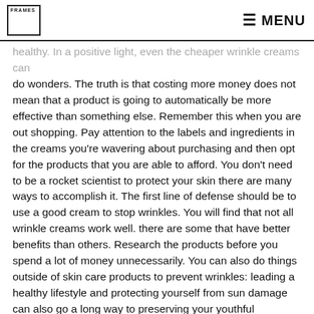FRAMES MENU
healthy. In a positive light, even the cheaper wrinkle creams can do wonders. The truth is that costing more money does not mean that a product is going to automatically be more effective than something else. Remember this when you are out shopping. Pay attention to the labels and ingredients in the creams you're wavering about purchasing and then opt for the products that you are able to afford. You don't need to be a rocket scientist to protect your skin there are many ways to accomplish it. The first line of defense should be to use a good cream to stop wrinkles. You will find that not all wrinkle creams work well. there are some that have better benefits than others. Research the products before you spend a lot of money unnecessarily. You can also do things outside of skin care products to prevent wrinkles: leading a healthy lifestyle and protecting yourself from sun damage can also go a long way to preserving your youthful appearance! (By Sarah J. Evans)